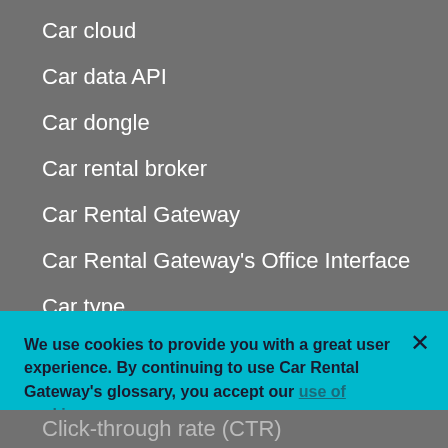Car cloud
Car data API
Car dongle
Car rental broker
Car Rental Gateway
Car Rental Gateway's Office Interface
Car type
Chargeback rate
Chauffeur
Check-in
We use cookies to provide you with a great user experience. By continuing to use Car Rental Gateway's glossary, you accept our use of cookies.
Click-through rate (CTR)